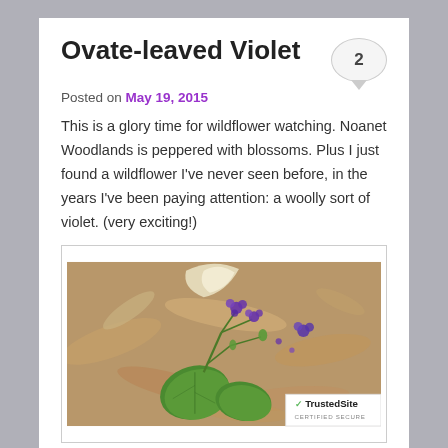Ovate-leaved Violet
Posted on May 19, 2015
This is a glory time for wildflower watching. Noanet Woodlands is peppered with blossoms. Plus I just found a wildflower I've never seen before, in the years I've been paying attention: a woolly sort of violet. (very exciting!)
[Figure (photo): Close-up photo of an ovate-leaved violet plant with small purple flowers and broad green leaves, growing among fallen brown leaves on a forest floor.]